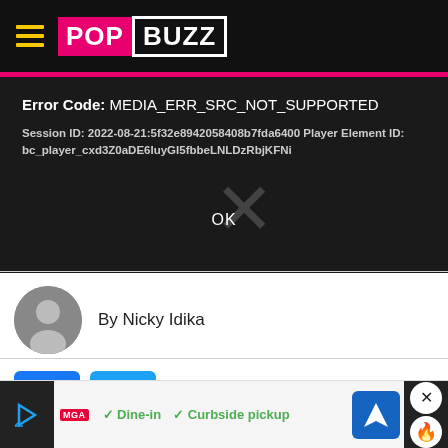PopBuzz
[Figure (screenshot): Video player error message panel with black background showing error code MEDIA_ERR_SRC_NOT_SUPPORTED and an OK button]
By Nicky Idika
[Figure (infographic): Facebook and Twitter social share buttons]
It's o... mo...
[Figure (infographic): Advertisement bar at bottom with play button, MGA logo, Dine-in and Curbside pickup text, map directions icon, close X button and fire icon]